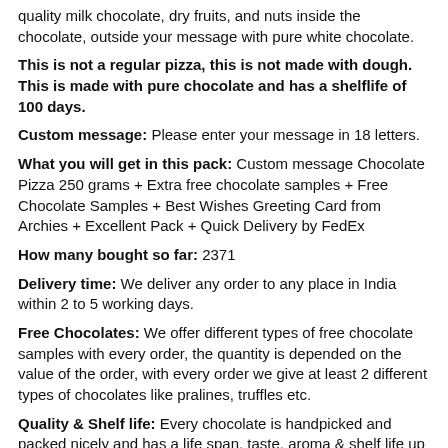quality milk chocolate, dry fruits, and nuts inside the chocolate, outside your message with pure white chocolate.
This is not a regular pizza, this is not made with dough. This is made with pure chocolate and has a shelflife of 100 days.
Custom message: Please enter your message in 18 letters.
What you will get in this pack: Custom message Chocolate Pizza 250 grams + Extra free chocolate samples + Free Chocolate Samples + Best Wishes Greeting Card from Archies + Excellent Pack + Quick Delivery by FedEx
How many bought so far: 2371
Delivery time: We deliver any order to any place in India within 2 to 5 working days.
Free Chocolates: We offer different types of free chocolate samples with every order, the quantity is depended on the value of the order, with every order we give at least 2 different types of chocolates like pralines, truffles etc.
Quality & Shelf life: Every chocolate is handpicked and packed nicely and has a life span, taste, aroma & shelf life up to 100 days.